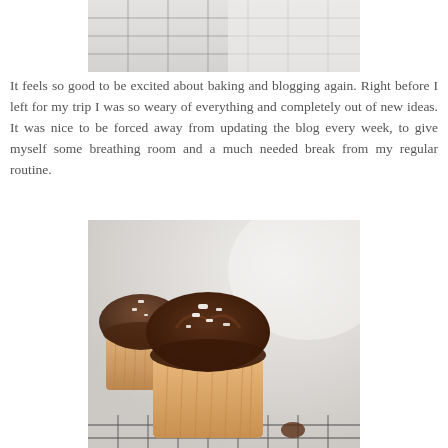[Figure (photo): Top portion of a photo showing what appears to be a wire cooling rack with baked goods, light and airy background]
It feels so good to be excited about baking and blogging again. Right before I left for my trip I was so weary of everything and completely out of new ideas. It was nice to be forced away from updating the blog every week, to give myself some breathing room and a much needed break from my regular routine.
[Figure (photo): Photo of two chocolate-frosted cupcakes with sea salt flakes on top, sitting on a wire cooling rack, with a blurred background]